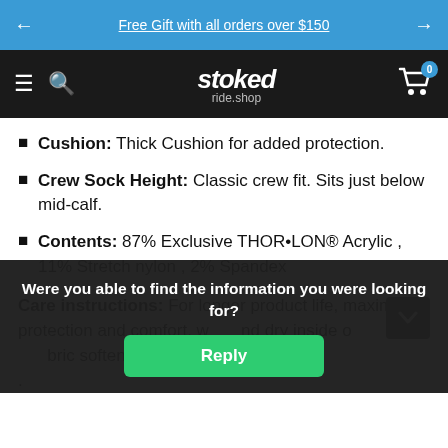Free Gift with all orders over $150
[Figure (logo): Stoked ride.shop logo on dark navbar with hamburger menu, search icon, and cart icon with badge showing 0]
Cushion: Thick Cushion for added protection.
Crew Sock Height: Classic crew fit. Sits just below mid-calf.
Contents: 87% Exclusive THOR•LON® Acrylic , 11% Stretch nylon , 2% Spandex
Care instructions: For longer longer product life, maximum protection and comfort, w...nd dry inside o...bric soften...ers for .
Were you able to find the information you were looking for?